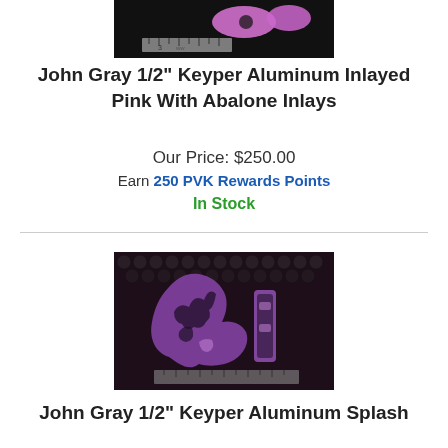[Figure (photo): Top partial product photo showing pink aluminum keyper pieces against a dark background with a ruler for scale]
John Gray 1/2" Keyper Aluminum Inlayed Pink With Abalone Inlays
Our Price: $250.00
Earn 250 PVK Rewards Points
In Stock
[Figure (photo): Product photo showing John Gray 1/2" Keyper Aluminum Splash pieces — purple/pink with black texture — on dark bead background with ruler]
John Gray 1/2" Keyper Aluminum Splash